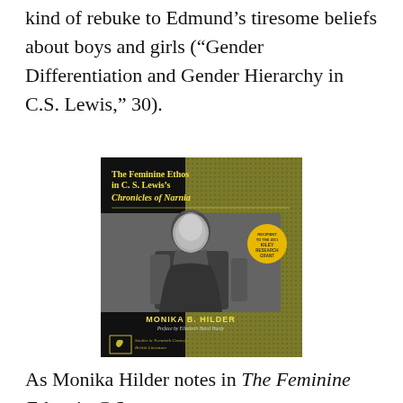kind of rebuke to Edmund’s tiresome beliefs about boys and girls (“Gender Differentiation and Gender Hierarchy in C.S. Lewis,” 30).
[Figure (photo): Book cover of 'The Feminine Ethos in C. S. Lewis’s Chronicles of Narnia' by Monika B. Hilder, with preface by Elizabeth Baird Hardy. Cover shows a black and white photo of C.S. Lewis on a dark background with olive/khaki textured right panel. Yellow badge indicates recipient of 2011 Kiley Research Grant. Series: Studies in Twentieth Century British Literature.]
As Monika Hilder notes in The Feminine Ethos in C.S.